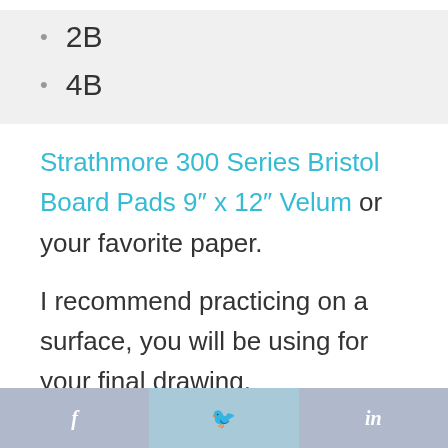2B
4B
Strathmore 300 Series Bristol Board Pads 9″ x 12″ Velum or your favorite paper.
I recommend practicing on a surface, you will be using for your final drawing.
Over the years, I have tried multiple
f  🐦  in